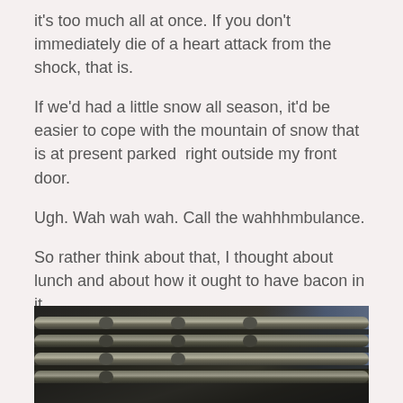it's too much all at once. If you don't immediately die of a heart attack from the shock, that is.
If we'd had a little snow all season, it'd be easier to cope with the mountain of snow that is at present parked right outside my front door.
Ugh. Wah wah wah. Call the wahhhmbulance.
So rather think about that, I thought about lunch and about how it ought to have bacon in it.
I had some nice bacon that I chopped up and cooked with some onion and garlic.  Then I added some black beans and slow cooked the whole thing for a few hours.
[Figure (photo): Dark close-up photo of what appears to be metal cooking equipment or grill grates with a blue element visible in the background]